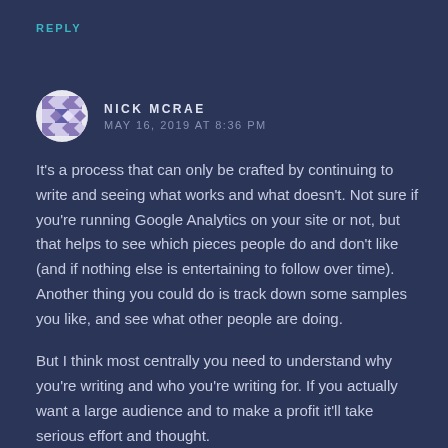REPLY
NICK MCRAE
MAY 16, 2019 AT 8:36 PM
It's a process that can only be crafted by continuing to write and seeing what works and what doesn't. Not sure if you're running Google Analytics on your site or not, but that helps to see which pieces people do and don't like (and if nothing else is entertaining to follow over time). Another thing you could do is track down some samples you like, and see what other people are doing.
But I think most centrally you need to understand why you're writing and who you're writing for. If you actually want a large audience and to make a profit it'll take serious effort and thought.